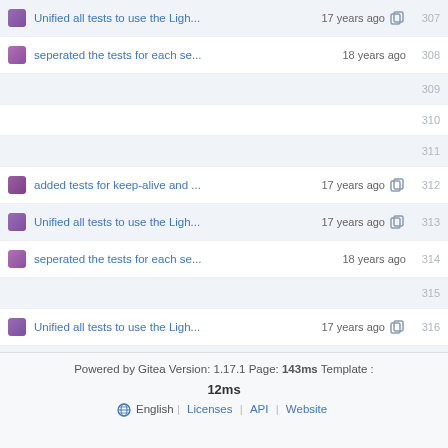Unified all tests to use the Ligh... 17 years ago — 307
seperated the tests for each se... 18 years ago — 308
(empty rows) 309, 310, 311
added tests for keep-alive and ... 17 years ago — 312
Unified all tests to use the Ligh... 17 years ago — 313
seperated the tests for each se... 18 years ago — 314
(empty row) 315
Unified all tests to use the Ligh... 17 years ago — 316
skip fastcgi checks if fastcgi-pr... 18 years ago — 317
seperated the tests for each se... 18 years ago — 318
Powered by Gitea Version: 1.17.1 Page: 143ms Template : 12ms English | Licenses | API | Website